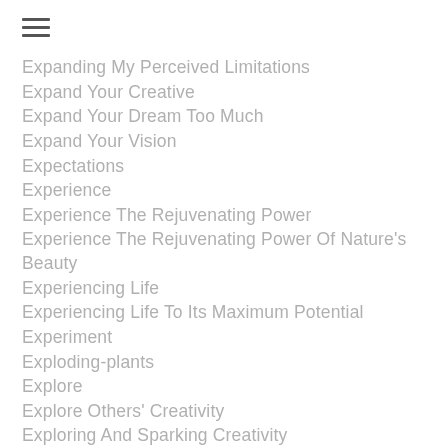[Figure (other): Hamburger menu icon (three horizontal lines)]
Expanding My Perceived Limitations
Expand Your Creative
Expand Your Dream Too Much
Expand Your Vision
Expectations
Experience
Experience The Rejuvenating Power
Experience The Rejuvenating Power Of Nature's Beauty
Experiencing Life
Experiencing Life To Its Maximum Potential
Experiment
Exploding-plants
Explore
Explore Others' Creativity
Exploring And Sparking Creativity
Expression-of-the-compassionate-force-within-life
Expressions Of The Creative Life
Extraordinary Success